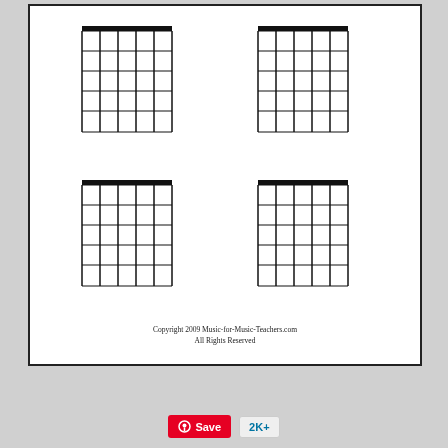[Figure (other): Four blank guitar chord diagram grids arranged in a 2x2 layout, each showing 5 vertical strings and 5 horizontal frets with a thick nut bar at the top. Used as blank templates for writing guitar chord fingerings.]
Copyright 2009 Music-for-Music-Teachers.com
All Rights Reserved